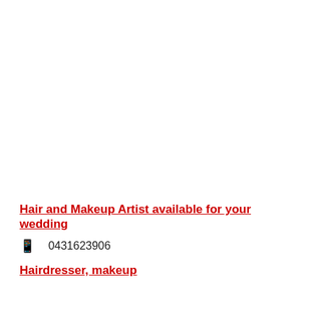Hair and Makeup Artist available for your wedding
📱   0431623906
Hairdresser, makeup